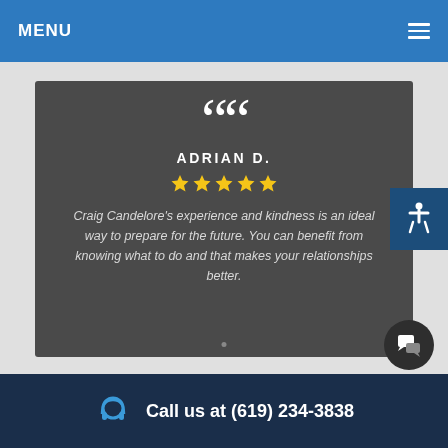MENU
ADRIAN D.
★★★★★
Craig Candelore's experience and kindness is an ideal way to prepare for the future. You can benefit from knowing what to do and that makes your relationships better.
Call us at (619) 234-3838